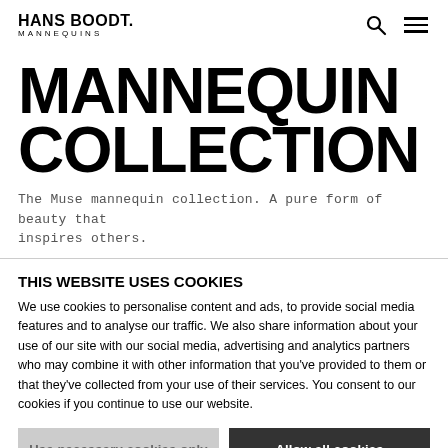HANS BOODT. MANNEQUINS
MANNEQUIN COLLECTION
The Muse mannequin collection. A pure form of beauty that inspires others.
We are Hans Boodt Mannequins. We customize, design,
THIS WEBSITE USES COOKIES
We use cookies to personalise content and ads, to provide social media features and to analyse our traffic. We also share information about your use of our site with our social media, advertising and analytics partners who may combine it with other information that you've provided to them or that they've collected from your use of their services. You consent to our cookies if you continue to use our website.
Use necessary cookies only
Allow all cookies
Show details